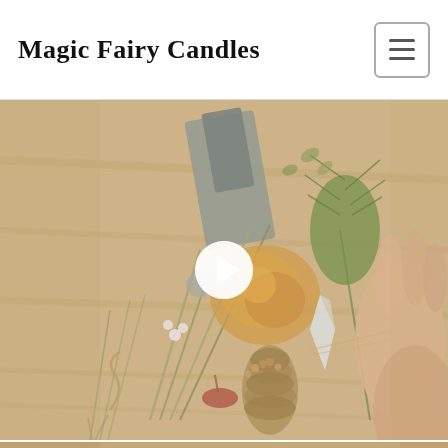Magic Fairy Candles
[Figure (photo): Video thumbnail showing hands arranging dried flowers, herbs, crystals, and natural objects on a wooden surface. A white play button is overlaid in the center of the image, indicating a video player.]
[Figure (photo): Partial view of a second image or video at the bottom of the page, showing a warm-toned background similar to the first video.]